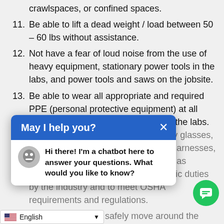crawlspaces, or confined spaces.
11. Be able to lift a dead weight / load between 50 – 60 lbs without assistance.
12. Not have a fear of loud noise from the use of heavy equipment, stationary power tools in the labs, and power tools and saws on the jobsite.
13. Be able to wear all appropriate and required PPE (personal protective equipment) at all times on the construction site and in the labs. PPE includes but not limited to safety glasses, closed-toe shoes, hard-hats, safety harnesses, and fall protection gear. PPE is used as required in the performance of specific duties by the industry and to meet OSHA requirements and regulations.
14. Need to be able to safely move around the ... to work on and in the